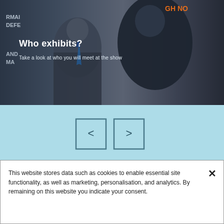[Figure (photo): Photo of two men in suits shaking hands at a conference/exhibition event, with signage visible in the background including partial text 'GH NO' and other exhibition branding]
Who exhibits?
Take a look at who you will meet at the show
[Figure (other): Navigation carousel controls with left arrow button and right arrow button on light blue background]
SPONSORS CAROUSEL
[Figure (logo): L3Harris logo — red geometric globe/sphere icon alongside bold text 'L3HARRIS']
This website stores data such as cookies to enable essential site functionality, as well as marketing, personalisation, and analytics. By remaining on this website you indicate your consent.